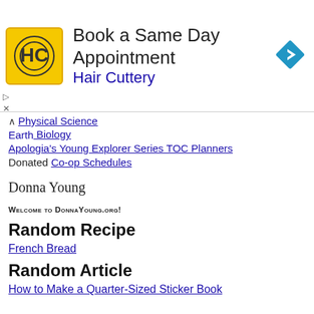[Figure (other): Advertisement banner for Hair Cuttery: 'Book a Same Day Appointment' with HC logo and blue direction sign icon]
Physical Science
Earth Biology
Apologia's Young Explorer Series TOC Planners
Donated Co-op Schedules
Donna Young
Welcome to DonnaYoung.org!
Random Recipe
French Bread
Random Article
How to Make a Quarter-Sized Sticker Book